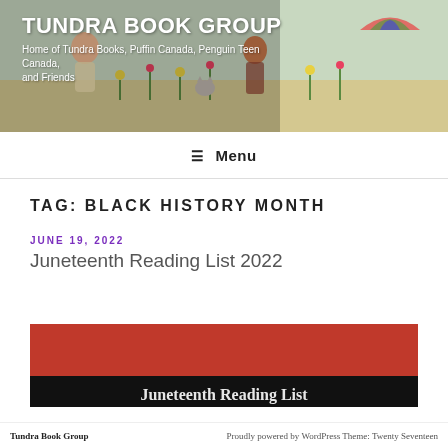[Figure (illustration): Tundra Book Group website header banner with illustrated children and flowers in background, showing site title and tagline]
TUNDRA BOOK GROUP
Home of Tundra Books, Puffin Canada, Penguin Teen Canada, and Friends
≡ Menu
TAG: BLACK HISTORY MONTH
JUNE 19, 2022
Juneteenth Reading List 2022
[Figure (illustration): Red and black banner image with white text reading 'Juneteenth Reading List' partially visible at bottom]
Tundra Book Group   Proudly powered by WordPress Theme: Twenty Seventeen